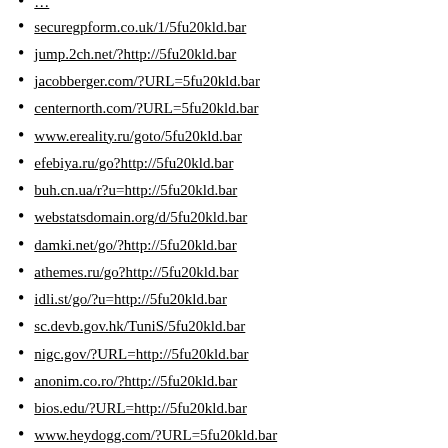securegpform.co.uk/1/5fu20kld.bar
jump.2ch.net/?http://5fu20kld.bar
jacobberger.com/?URL=5fu20kld.bar
centernorth.com/?URL=5fu20kld.bar
www.ereality.ru/goto/5fu20kld.bar
efebiya.ru/go?http://5fu20kld.bar
buh.cn.ua/r?u=http://5fu20kld.bar
webstatsdomain.org/d/5fu20kld.bar
damki.net/go/?http://5fu20kld.bar
athemes.ru/go?http://5fu20kld.bar
idli.st/go/?u=http://5fu20kld.bar
sc.devb.gov.hk/TuniS/5fu20kld.bar
nigc.gov/?URL=http://5fu20kld.bar
anonim.co.ro/?http://5fu20kld.bar
bios.edu/?URL=http://5fu20kld.bar
www.heydogg.com/?URL=5fu20kld.bar
seo.pablos.it/domain/5fu20kld.bar
sc.hkexnews.hk/TuniS/5fu20kld.bar